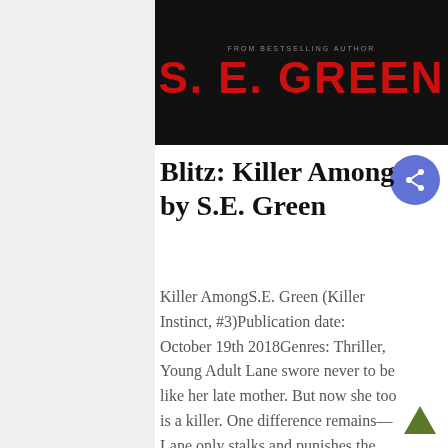[Figure (illustration): Book cover banner for S.E. Green with dark/black background. Top text reads 'FROM BESTSELLING AUTHOR' in small caps. Below is the author name 'S. E. GREEN' in large bold red letters.]
Blitz: Killer Among by S.E. Green
Killer AmongS.E. Green (Killer Instinct, #3)Publication date: October 19th 2018Genres: Thriller, Young Adult Lane swore never to be like her late mother. But now she too is a killer. One difference remains—Lane only stalks and punishes the guilty. But while trailing a new killer